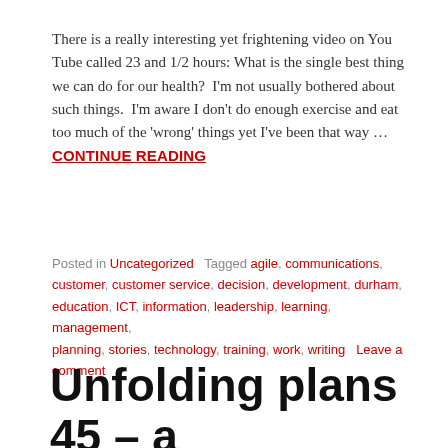There is a really interesting yet frightening video on You Tube called 23 and 1/2 hours: What is the single best thing we can do for our health?  I'm not usually bothered about such things.  I'm aware I don't do enough exercise and eat too much of the 'wrong' things yet I've been that way ... CONTINUE READING
Posted in Uncategorized   Tagged agile, communications, customer, customer service, decision, development, durham, education, ICT, information, leadership, learning, management, planning, stories, technology, training, work, writing   Leave a comment
Unfolding plans 45 – a day of meetings